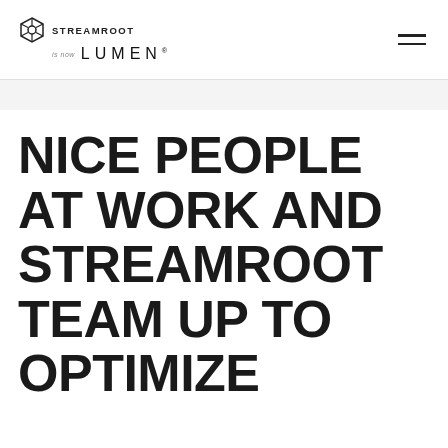[Figure (logo): Streamroot is now Lumen logo with hexagonal icon on the left and hamburger menu icon on the right]
NICE PEOPLE AT WORK AND STREAMROOT TEAM UP TO OPTIMIZE